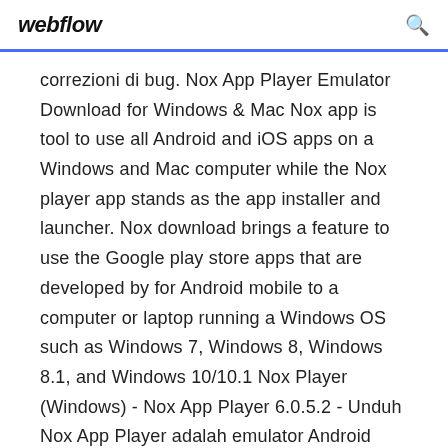webflow
correzioni di bug. Nox App Player Emulator Download for Windows & Mac Nox app is tool to use all Android and iOS apps on a Windows and Mac computer while the Nox player app stands as the app installer and launcher. Nox download brings a feature to use the Google play store apps that are developed by for Android mobile to a computer or laptop running a Windows OS such as Windows 7, Windows 8, Windows 8.1, and Windows 10/10.1 Nox Player (Windows) - Nox App Player 6.0.5.2 - Unduh Nox App Player adalah emulator Android yang memungkinkan Anda menggunakan aplikasi sistem operasi Android dari kenyamanan komputer Anda sendiri. Kita membicarakan tentang aplikasi